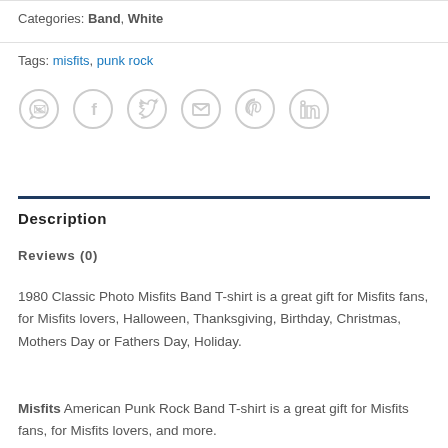Categories: Band, White
Tags: misfits, punk rock
[Figure (infographic): Six social sharing icon circles: WhatsApp, Facebook, Twitter, Email, Pinterest, LinkedIn — all in light grey outline style]
Description
Reviews (0)
1980 Classic Photo Misfits Band T-shirt is a great gift for Misfits fans, for Misfits lovers, Halloween, Thanksgiving, Birthday, Christmas, Mothers Day or Fathers Day, Holiday.
Misfits American Punk Rock Band T-shirt is a great gift for Misfits fans, for Misfits lovers, and more.